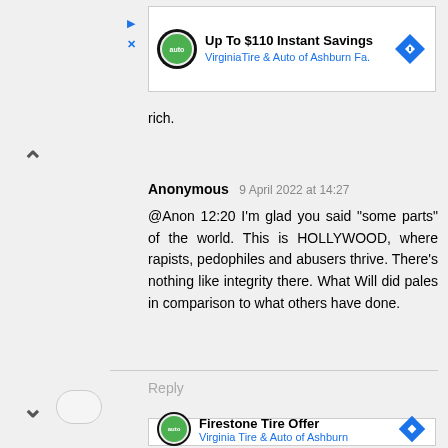[Figure (screenshot): Advertisement banner: Up To $110 Instant Savings - Virginia Tire & Auto of Ashburn Fa.]
rich.
Anonymous 9 April 2022 at 14:27
@Anon 12:20 I'm glad you said "some parts" of the world. This is HOLLYWOOD, where rapists, pedophiles and abusers thrive. There's nothing like integrity there. What Will did pales in comparison to what others have done.
Reply
[Figure (screenshot): Advertisement: Firestone Tire Offer - Virginia Tire & Auto of Ashburn]